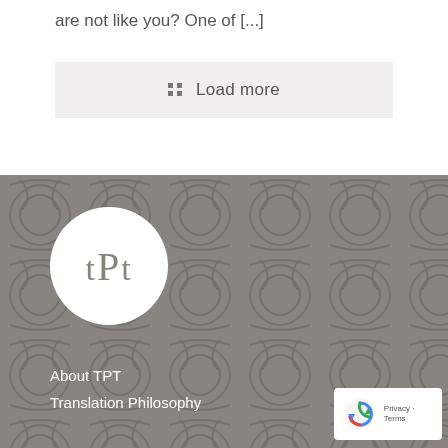are not like you? One of [...]
Load more
[Figure (logo): tPt logo — white circle with the letters 'tPt' in gray serif font on a gray patterned background]
About TPT
Translation Philosophy
[Figure (other): Google reCAPTCHA privacy badge showing the reCAPTCHA logo with 'Privacy - Terms' text]